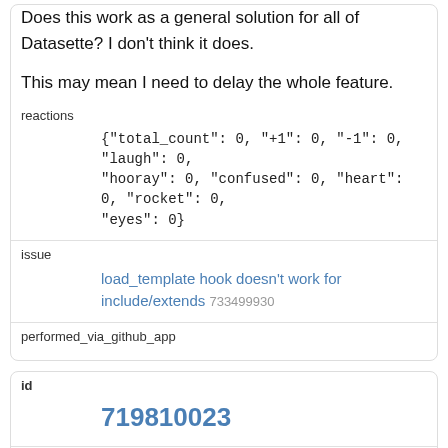just building this 'datasette-built-templates' plugin. Does this work as a general solution for all of Datasette? I don't think it does.

This may mean I need to delay the whole feature.
| field | value |
| --- | --- |
| reactions | {"total_count": 0, "+1": 0, "-1": 0, "laugh": 0, "hooray": 0, "confused": 0, "heart": 0, "rocket": 0, "eyes": 0} |
| issue | load_template hook doesn't work for include/extends 733499930 |
| performed_via_github_app |  |
| field | value |
| --- | --- |
| id | 719810023 |
| html_url | https://github.com/simonw/datasette/issues/1072#iss 719810023 |